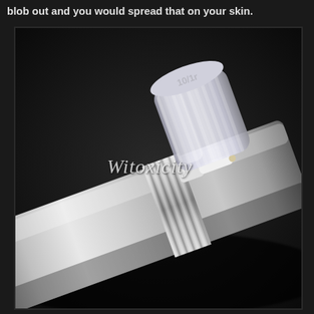blob out and you would spread that on your skin.
[Figure (photo): Close-up photo of a silver/frosted cylindrical cosmetic pump dispenser bottle lying diagonally on a dark surface. The bottle has a ridged silver metallic collar and a frosted transparent pump cap with a decorative scalloped top. A small white nozzle tip is visible. A watermark reading 'Witoxicity' in italic script is overlaid on the image.]